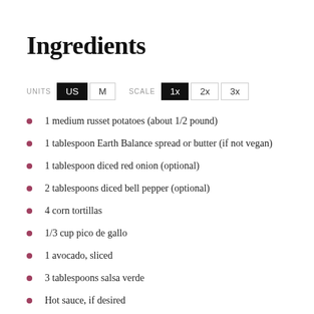Ingredients
UNITS US M SCALE 1x 2x 3x
1 medium russet potatoes (about 1/2 pound)
1 tablespoon Earth Balance spread or butter (if not vegan)
1 tablespoon diced red onion (optional)
2 tablespoons diced bell pepper (optional)
4 corn tortillas
1/3 cup pico de gallo
1 avocado, sliced
3 tablespoons salsa verde
Hot sauce, if desired